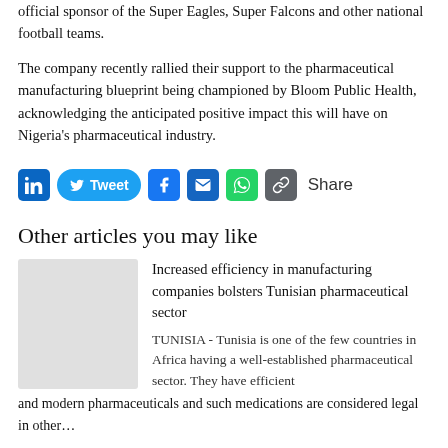official sponsor of the Super Eagles, Super Falcons and other national football teams.
The company recently rallied their support to the pharmaceutical manufacturing blueprint being championed by Bloom Public Health, acknowledging the anticipated positive impact this will have on Nigeria’s pharmaceutical industry.
[Figure (infographic): Social share bar with LinkedIn, Tweet (Twitter), Facebook, Email, WhatsApp, Copy Link icons, and Share text]
Other articles you may like
Increased efficiency in manufacturing companies bolsters Tunisian pharmaceutical sector
TUNISIA - Tunisia is one of the few countries in Africa having a well-established pharmaceutical sector. They have efficient and modern pharmaceuticals and such medications are considered legal in other…